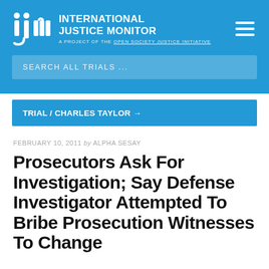INTERNATIONAL JUSTICE MONITOR — A PROJECT OF THE OPEN SOCIETY JUSTICE INITIATIVE
SEARCH ALL TRIALS ...
TRIAL / CHARLES TAYLOR →
FEBRUARY 10, 2011 by ALPHA SESAY
Prosecutors Ask For Investigation; Say Defense Investigator Attempted To Bribe Prosecution Witnesses To Change